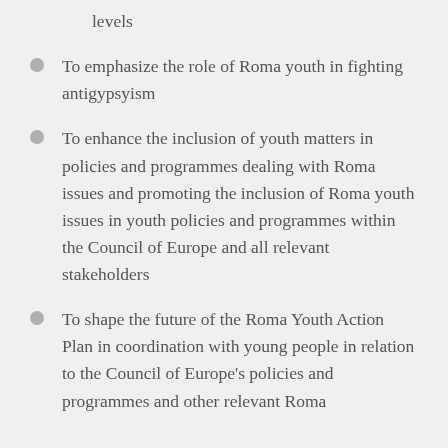levels
To emphasize the role of Roma youth in fighting antigypsyism
To enhance the inclusion of youth matters in policies and programmes dealing with Roma issues and promoting the inclusion of Roma youth issues in youth policies and programmes within the Council of Europe and all relevant stakeholders
To shape the future of the Roma Youth Action Plan in coordination with young people in relation to the Council of Europe's policies and programmes and other relevant Roma